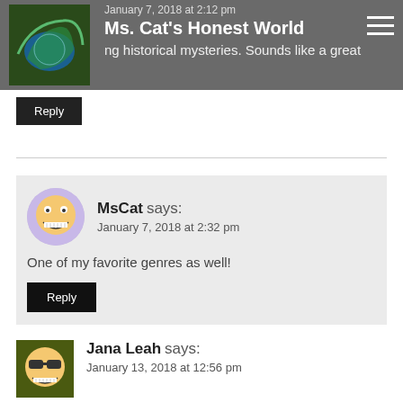Ms. Cat's Honest World — January 7, 2018 at 2:12 pm — ...ng historical mysteries. Sounds like a great...
Reply
MsCat says:
January 7, 2018 at 2:32 pm

One of my favorite genres as well!

Reply
Jana Leah says:
January 13, 2018 at 12:56 pm